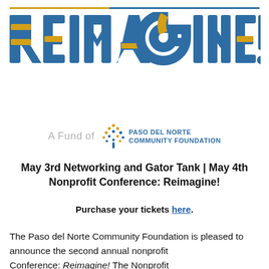[Figure (logo): REIMAGINE! logo in large bold stylized text with blue and yellow geometric block letters]
[Figure (logo): A Fund of Paso del Norte Community Foundation logo with tree/dots icon]
May 3rd Networking and Gator Tank | May 4th Nonprofit Conference: Reimagine!
Purchase your tickets here.
The Paso del Norte Community Foundation is pleased to announce the second annual nonprofit Conference: Reimagine! The Nonprofit